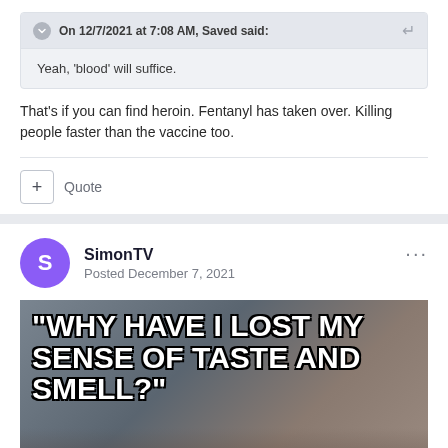On 12/7/2021 at 7:08 AM, Saved said:
Yeah, 'blood' will suffice.
That's if you can find heroin. Fentanyl has taken over. Killing people faster than the vaccine too.
+ Quote
SimonTV
Posted December 7, 2021
[Figure (photo): Meme image showing a person with text overlay reading: 'WHY HAVE I LOST MY SENSE OF TASTE AND SMELL?']